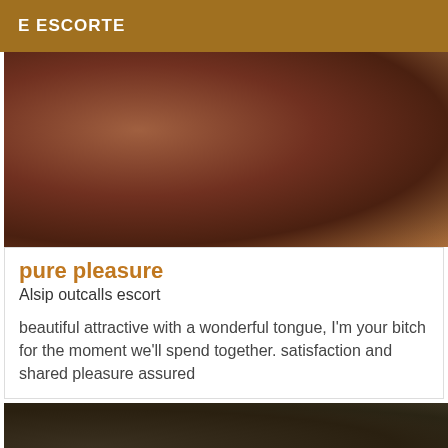E ESCORTE
[Figure (photo): Close-up photo with warm brown tones, partially cropped figure on a floral-patterned background]
pure pleasure
Alsip outcalls escort
beautiful attractive with a wonderful tongue, I'm your bitch for the moment we'll spend together. satisfaction and shared pleasure assured
[Figure (photo): Dark photo with stone or rocky texture, very low-light image]